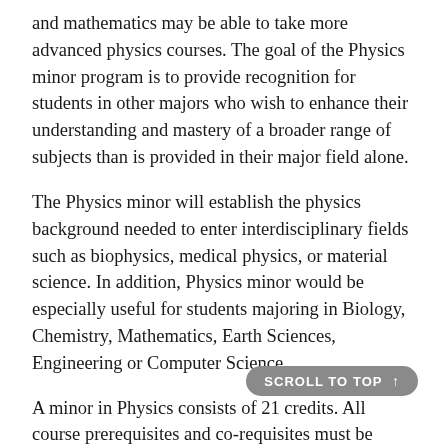and mathematics may be able to take more advanced physics courses. The goal of the Physics minor program is to provide recognition for students in other majors who wish to enhance their understanding and mastery of a broader range of subjects than is provided in their major field alone.
The Physics minor will establish the physics background needed to enter interdisciplinary fields such as biophysics, medical physics, or material science. In addition, Physics minor would be especially useful for students majoring in Biology, Chemistry, Mathematics, Earth Sciences, Engineering or Computer Science.
A minor in Physics consists of 21 credits. All course prerequisites and co-requisites must be satisfied.
Required Courses